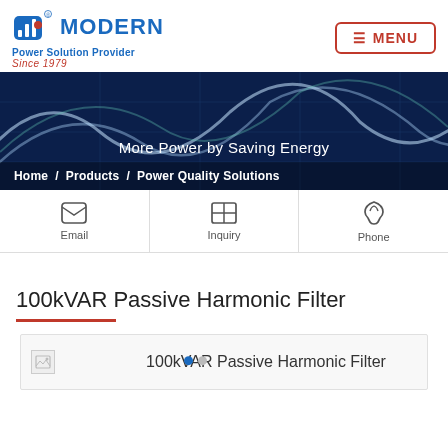[Figure (logo): Modern Power Solution Provider logo with blue icon and text, Since 1979]
≡ MENU
[Figure (photo): Dark blue banner with waveform/harmonic graphics overlay]
More Power by Saving Energy
Home / Products / Power Quality Solutions
Email
Inquiry
Phone
100kVAR Passive Harmonic Filter
[Figure (photo): 100kVAR Passive Harmonic Filter product image (broken/loading)]